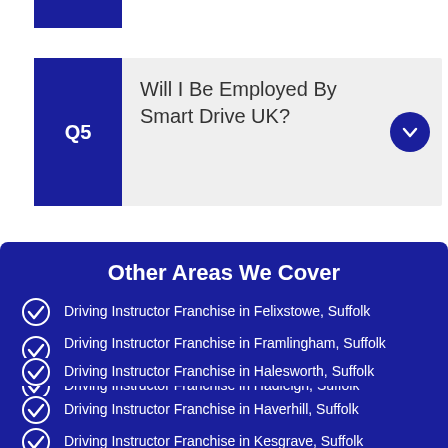Q5 Will I Be Employed By Smart Drive UK?
Other Areas We Cover
Driving Instructor Franchise in Felixstowe, Suffolk
Driving Instructor Franchise in Framlingham, Suffolk
Driving Instructor Franchise in Hadleigh, Suffolk
Driving Instructor Franchise in Halesworth, Suffolk
Driving Instructor Franchise in Haverhill, Suffolk
Driving Instructor Franchise in Kesgrave, Suffolk